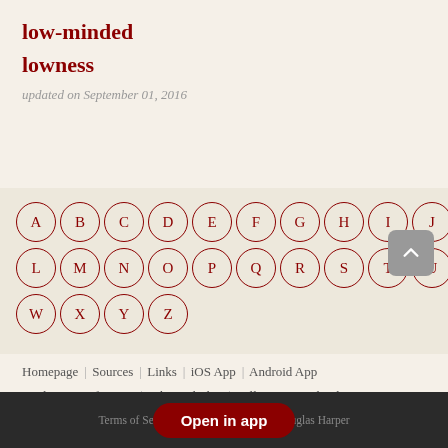low-minded
lowness
updated on September 01, 2016
[Figure (other): Alphabet navigation with letters A-Z in circular bordered buttons arranged in rows]
Homepage | Sources | Links | iOS App | Android App
Explanation of Terms | Who Did This | Follow on Facebook
Donate with PayPal | Ye Olde Swag Shoppe | Support on Patreon
Terms of Service | Pr... -2022 Douglas Harper